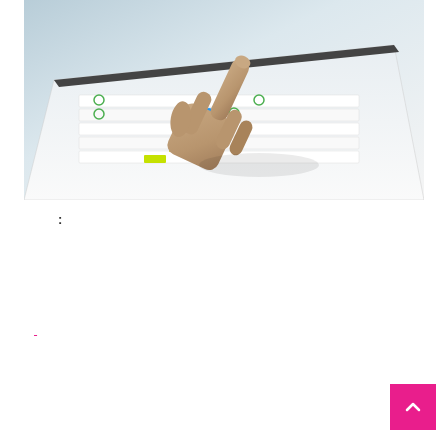[Figure (photo): A hand pointing at a touchscreen tablet showing a form interface with colored icons and rows]
░░░░░░░░░░░░░░░░░░░:
░░░░░░░░░░░░░░░░░░░░░░░░░░░░░░░░░░░░░░░░░░░░░░░░░░ ░░░░░░░░░░░░░░░░░░░░░░░░░░░░░░░░░░░░░░ ░░░░░░░░░░ ░░░░░░░░░░░░░░░░░░░░░░░░░░░░░░░░░░░░░░░░░░░░░░░░░░░ ░░░ ░░░░░ ░░░░░ ░░░░░░░░░░░░░░░░░░░░░░░░░░░░░░░░░░░░░░░░░░░░░░░░░░░ ░░░░░░░░░ ░░░░░░░░░░░░░░░░░░░░░░░░░░░░░░░░░░░░░░░░░░░░░░░░░░░░░░